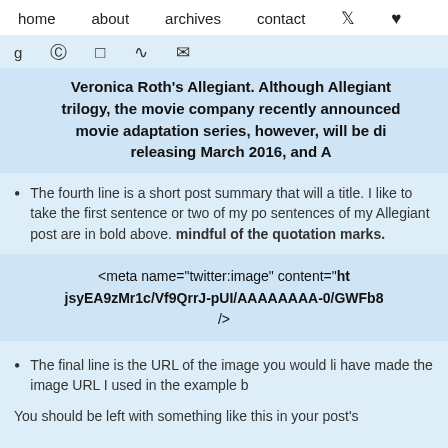home   about   archives   contact   ♥
g  pinterest  instagram  rss  email
Veronica Roth's Allegiant. Although Allegiant trilogy, the movie company recently announced movie adaptation series, however, will be di releasing March 2016, and A
The fourth line is a short post summary that will a title. I like to take the first sentence or two of my po sentences of my Allegiant post are in bold above. mindful of the quotation marks.
[Figure (screenshot): Code block showing: <meta name="twitter:image" content="ht jsyEA9zMr1c/Vf9QrrJ-pUI/AAAAAAAA-0/GWFb8 />]
The final line is the URL of the image you would li have made the image URL I used in the example b
You should be left with something like this in your post's